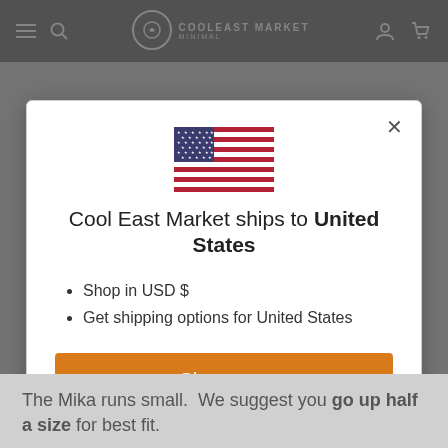Cool East Market — navigation bar
[Figure (screenshot): US flag icon centered above modal text]
Cool East Market ships to United States
Shop in USD $
Get shipping options for United States
Shop now
Change shipping country
The Mika runs small.  We suggest you go up half a size for best fit.